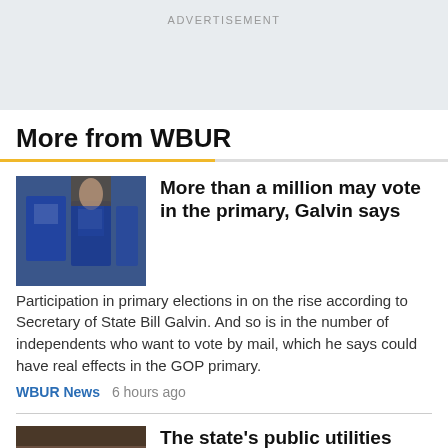ADVERTISEMENT
More from WBUR
[Figure (photo): Person speaking at podium with blue signs in background related to mail-in voting]
More than a million may vote in the primary, Galvin says
Participation in primary elections in on the rise according to Secretary of State Bill Galvin. And so is in the number of independents who want to vote by mail, which he says could have real effects in the GOP primary.
WBUR News  6 hours ago
[Figure (photo): Photo of public transit vehicle or train]
The state's public utilities department oversees the MBTA.